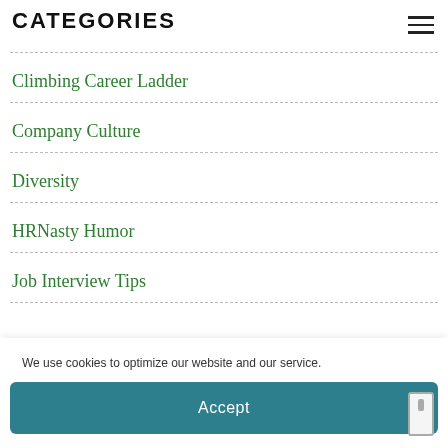CATEGORIES
Climbing Career Ladder
Company Culture
Diversity
HRNasty Humor
Job Interview Tips
We use cookies to optimize our website and our service.
Accept